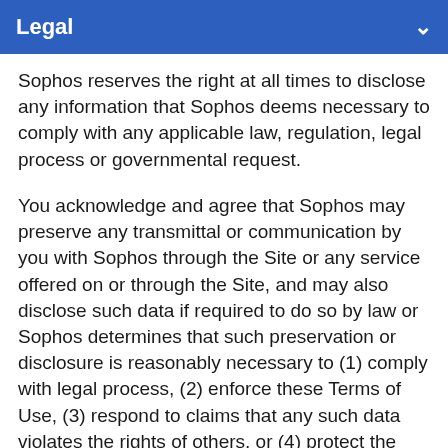Legal
Sophos reserves the right at all times to disclose any information that Sophos deems necessary to comply with any applicable law, regulation, legal process or governmental request.
You acknowledge and agree that Sophos may preserve any transmittal or communication by you with Sophos through the Site or any service offered on or through the Site, and may also disclose such data if required to do so by law or Sophos determines that such preservation or disclosure is reasonably necessary to (1) comply with legal process, (2) enforce these Terms of Use, (3) respond to claims that any such data violates the rights of others, or (4) protect the rights, property or personal safety of Sophos, its employees, users of or visitors to the Site, and the public.
You agree that Sophos may, in its sole discretion and